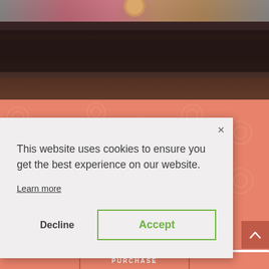[Figure (photo): Blurred dark background photo of what appears to be a restaurant or event space interior, with colorful elements at top (pink/magenta and gold tones). Background transitions to a salmon/coral colored decorative patterned section below.]
This website uses cookies to ensure you get the best experience on our website.
Learn more
Decline
Accept
PURCHASE